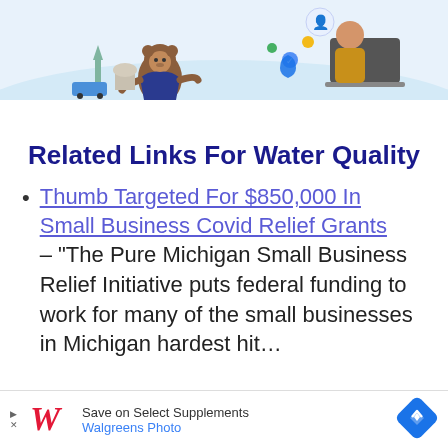[Figure (illustration): Decorative hero banner with a cartoon bear mascot in a business suit near the Statue of Liberty and Washington monuments, alongside icons for a mobile app with a person using a laptop, on a light blue background.]
Related Links For Water Quality
Thumb Targeted For $850,000 In Small Business Covid Relief Grants – “The Pure Michigan Small Business Relief Initiative puts federal funding to work for many of the small businesses in Michigan hardest hit…
[Figure (logo): Walgreens Photo advertisement banner: Save on Select Supplements, Walgreens Photo]